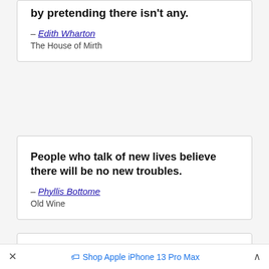by pretending there isn't any.
— Edith Wharton
The House of Mirth
People who talk of new lives believe there will be no new troubles.
— Phyllis Bottome
Old Wine
When one has an insatiable appetite for trouble all sorts will serve.
Shop Apple iPhone 13 Pro Max